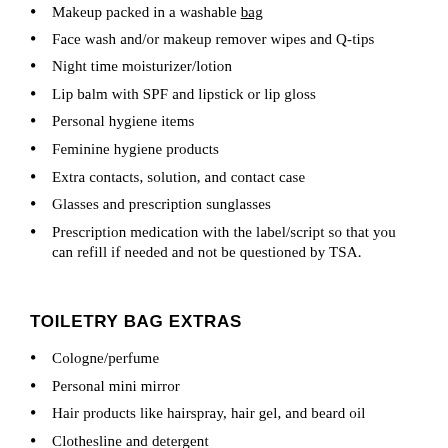Makeup packed in a washable bag
Face wash and/or makeup remover wipes and Q-tips
Night time moisturizer/lotion
Lip balm with SPF and lipstick or lip gloss
Personal hygiene items
Feminine hygiene products
Extra contacts, solution, and contact case
Glasses and prescription sunglasses
Prescription medication with the label/script so that you can refill if needed and not be questioned by TSA.
TOILETRY BAG EXTRAS
Cologne/perfume
Personal mini mirror
Hair products like hairspray, hair gel, and beard oil
Clothesline and detergent
Shaving kit and extra razors